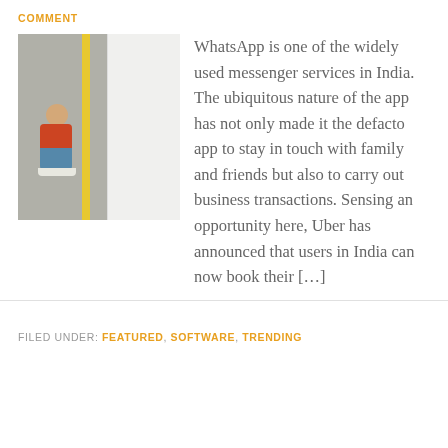COMMENT
[Figure (photo): Overhead photo of a person crouching next to a white Uber car on pavement with a yellow line]
WhatsApp is one of the widely used messenger services in India. The ubiquitous nature of the app has not only made it the defacto app to stay in touch with family and friends but also to carry out business transactions. Sensing an opportunity here, Uber has announced that users in India can now book their […]
FILED UNDER: FEATURED, SOFTWARE, TRENDING